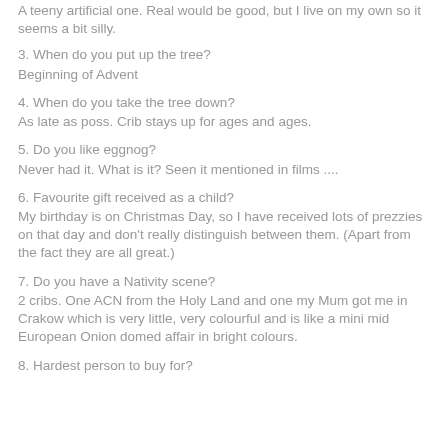A teeny artificial one. Real would be good, but I live on my own so it seems a bit silly.
3. When do you put up the tree?
Beginning of Advent
4. When do you take the tree down?
As late as poss. Crib stays up for ages and ages.
5. Do you like eggnog?
Never had it. What is it? Seen it mentioned in films ....
6. Favourite gift received as a child?
My birthday is on Christmas Day, so I have received lots of prezzies on that day and don't really distinguish between them. (Apart from the fact they are all great.)
7. Do you have a Nativity scene?
2 cribs. One ACN from the Holy Land and one my Mum got me in Crakow which is very little, very colourful and is like a mini mid European Onion domed affair in bright colours.
8. Hardest person to buy for?